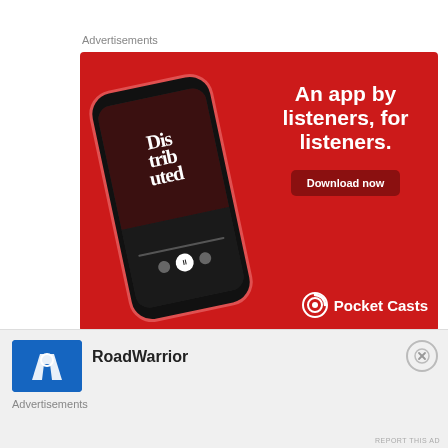Advertisements
[Figure (illustration): Pocket Casts advertisement on red background showing a smartphone with podcast app open. Text reads 'An app by listeners, for listeners.' with a 'Download now' button and Pocket Casts logo at bottom.]
REPORT THIS AD
[Figure (logo): RoadWarrior app logo - blue square with white road/highway icon]
RoadWarrior
Advertisements
REPORT THIS AD